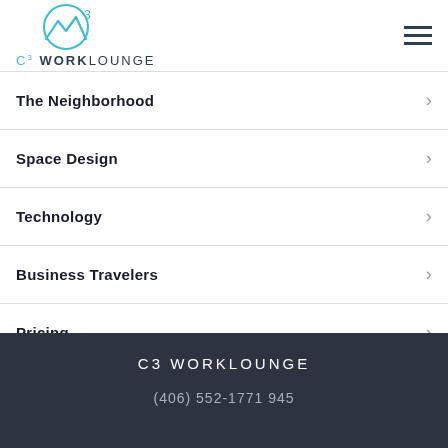[Figure (logo): C3 Worklounge logo with teal mountain/arch icon and text 'C³ WORKLOUNGE']
The Neighborhood
Space Design
Technology
Business Travelers
Pricing
C3 WORKLOUNGE
(406) 552-1771 945